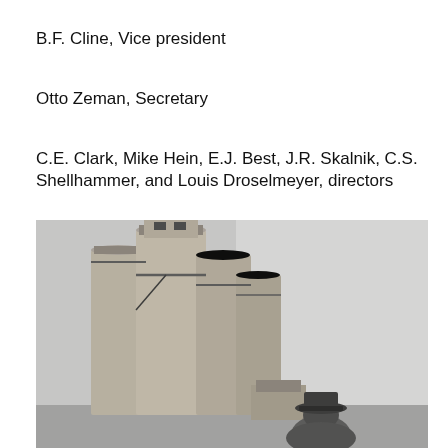B.F. Cline, Vice president
Otto Zeman, Secretary
C.E. Clark, Mike Hein, E.J. Best, J.R. Skalnik, C.S. Shellhammer, and Louis Droselmeyer, directors
[Figure (photo): Black and white photograph of large grain elevator silos with a person wearing a hat standing in the foreground, viewed from behind, looking up at the tall concrete cylindrical silos.]